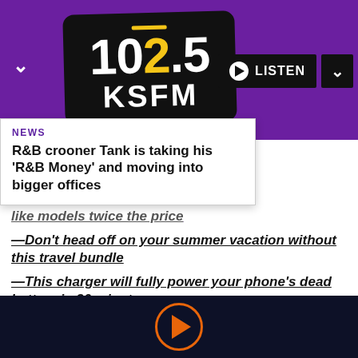[Figure (logo): 102.5 KSFM radio station logo in white text on black background, within purple header bar with LISTEN button]
NEWS
R&B crooner Tank is taking his 'R&B Money' and moving into bigger offices
—Don't head off on your summer vacation without this travel bundle
—This charger will fully power your phone's dead battery in 30 minutes
—These weighted bracelet bands help take your workouts up a notch
—Finish this $30 puzzle and enter for a chance to…